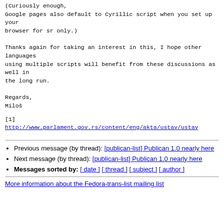(Curiously enough,
Google pages also default to Cyrillic script when you set up your
browser for sr only.)
Thanks again for taking an interest in this, I hope other languages
using multiple scripts will benefit from these discussions as well in
the long run.
Regards,
Miloš
[1]
http://www.parlament.gov.rs/content/eng/akta/ustav/ustav
Previous message (by thread): [publican-list] Publican 1.0 nearly here
Next message (by thread): [publican-list] Publican 1.0 nearly here
Messages sorted by: [ date ] [ thread ] [ subject ] [ author ]
More information about the Fedora-trans-list mailing list